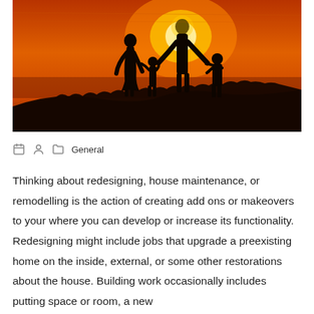[Figure (photo): Silhouette of a family of four (two adults and two children) holding hands, walking on a hill at sunset with a bright orange sky and sun behind them.]
General
Thinking about redesigning, house maintenance, or remodelling is the action of creating add ons or makeovers to your where you can develop or increase its functionality. Redesigning might include jobs that upgrade a preexisting home on the inside, external, or some other restorations about the house. Building work occasionally includes putting space or room, a new